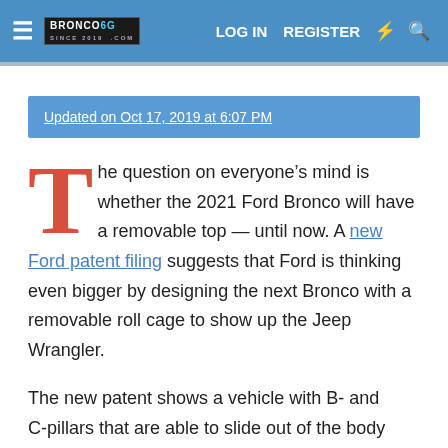BRONCO6G.COM — LOG IN  REGISTER
Updated on Oct 17, 2019 at 6:07 PM
The question on everyone's mind is whether the 2021 Ford Bronco will have a removable top — until now. A new Ford patent filing suggests that Ford is thinking even bigger by designing the next Bronco with a removable roll cage to show up the Jeep Wrangler.
The new patent shows a vehicle with B- and C-pillars that are able to slide out of the body with the